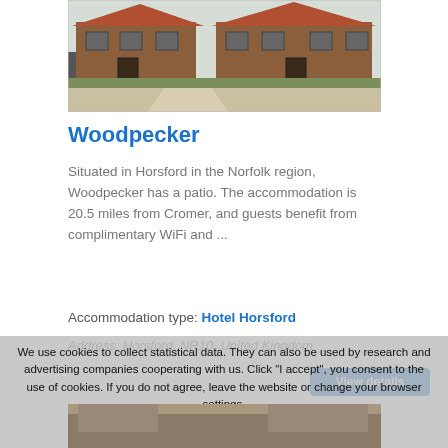[Figure (photo): Exterior photo of a brick building (Woodpecker accommodation) with a tiled roof, windows, and a path in front.]
Woodpecker
Situated in Horsford in the Norfolk region, Woodpecker has a patio. The accommodation is 20.5 miles from Cromer, and guests benefit from complimentary WiFi and ...
Accommodation type: Hotel Horsford
Address: Horsford, NR10, United Kingdom
We use cookies to collect statistical data. They can also be used by research and advertising companies cooperating with us. Click "I accept", you consent to the use of cookies. If you do not agree, leave the website or change your browser settings.
[Figure (photo): Partial view of a second accommodation photo at the bottom of the page.]